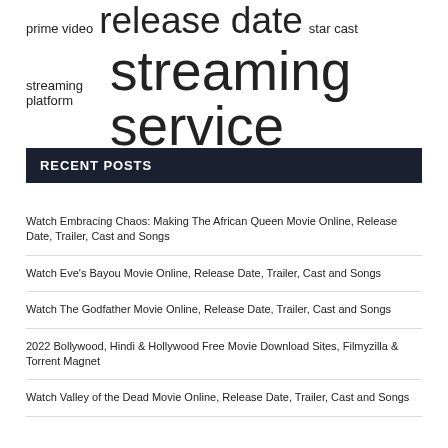prime video release date star cast streaming platform streaming service theatrical release tv shows watch movies
RECENT POSTS
Watch Embracing Chaos: Making The African Queen Movie Online, Release Date, Trailer, Cast and Songs
Watch Eve's Bayou Movie Online, Release Date, Trailer, Cast and Songs
Watch The Godfather Movie Online, Release Date, Trailer, Cast and Songs
2022 Bollywood, Hindi & Hollywood Free Movie Download Sites, Filmyzilla & Torrent Magnet
Watch Valley of the Dead Movie Online, Release Date, Trailer, Cast and Songs